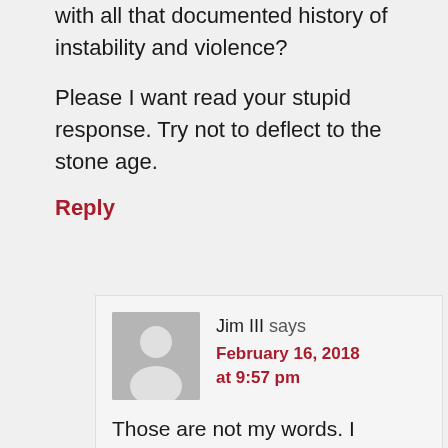with all that documented history of instability and violence?
Please I want read your stupid response. Try not to deflect to the stone age.
Reply
Jim III says
February 16, 2018 at 9:57 pm
Those are not my words. I